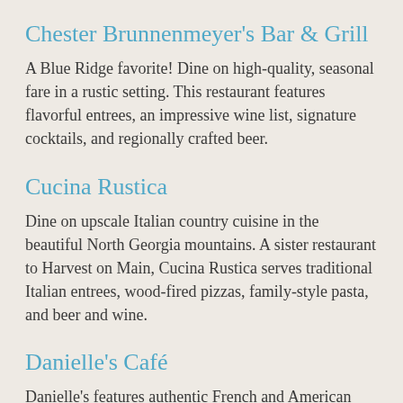Chester Brunnenmeyer's Bar & Grill
A Blue Ridge favorite! Dine on high-quality, seasonal fare in a rustic setting. This restaurant features flavorful entrees, an impressive wine list, signature cocktails, and regionally crafted beer.
Cucina Rustica
Dine on upscale Italian country cuisine in the beautiful North Georgia mountains. A sister restaurant to Harvest on Main, Cucina Rustica serves traditional Italian entrees, wood-fired pizzas, family-style pasta, and beer and wine.
Danielle's Café
Danielle's features authentic French and American